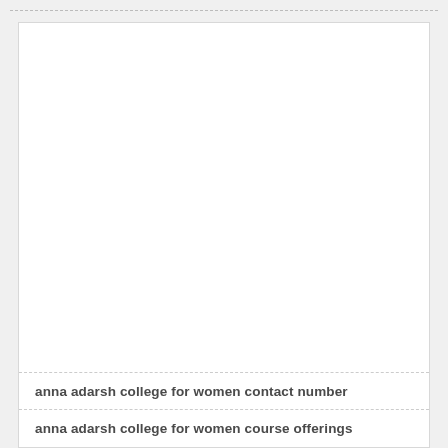anna adarsh college for women contact number
anna adarsh college for women course offerings